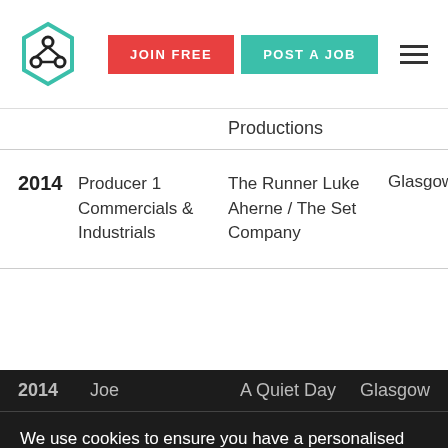JOIN FREE | POST A JOB
| Year | Role | Production | Location |
| --- | --- | --- | --- |
|  |  | Productions |  |
| 2014 | Producer 1 Commercials & Industrials | The Runner Luke Aherne / The Set Company | Glasgow |
| 2014 | Joe | A Quiet Day | Glasgow |
| 2014 | Gregg ... | K'Nibble Andrew Dobbie / Way Film | Glasgow |
We use cookies to ensure you have a personalised user experience, as well as to analyse our traffic and tailor content, ads and social media features. We share some of this information with our technology, analytics and marketing partners. Privacy Policy
ACCEPT COOKIES